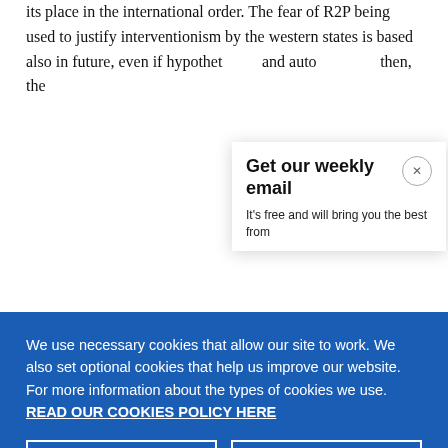its place in the international order. The fear of R2P being used to justify interventionism by the western states is based also in future, even if hypothet and auto then, the
Get our weekly email
It's free and will bring you the best from
We use necessary cookies that allow our site to work. We also set optional cookies that help us improve our website. For more information about the types of cookies we use. READ OUR COOKIES POLICY HERE
COOKIE SETTINGS
ALLOW ALL COOKIES
data.
Geopoliti